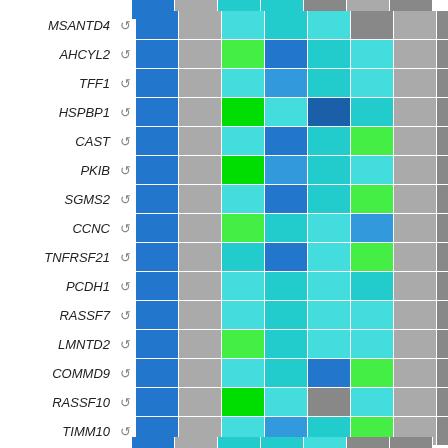[Figure (other): Heatmap table showing gene expression data for genes MSANTD4, AHCYL2, TFF1, HSPBP1, CAST, PKIB, SGMS2, CCNC, TNFRSF21, PCDH1, RASSF7, LMNTD2, COMMD9, RASSF10, TIMM10 across multiple sample columns with color coding from blue to green indicating expression levels, gray indicating no/low data, with navigation arrows on the right.]